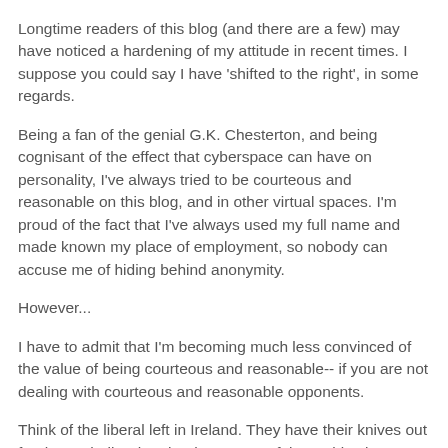Longtime readers of this blog (and there are a few) may have noticed a hardening of my attitude in recent times. I suppose you could say I have 'shifted to the right', in some regards.
Being a fan of the genial G.K. Chesterton, and being cognisant of the effect that cyberspace can have on personality, I've always tried to be courteous and reasonable on this blog, and in other virtual spaces. I'm proud of the fact that I've always used my full name and made known my place of employment, so nobody can accuse me of hiding behind anonymity.
However...
I have to admit that I'm becoming much less convinced of the value of being courteous and reasonable-- if you are not dealing with courteous and reasonable opponents.
Think of the liberal left in Ireland. They have their knives out for the Catholic Church. They are not fair, or objective, or